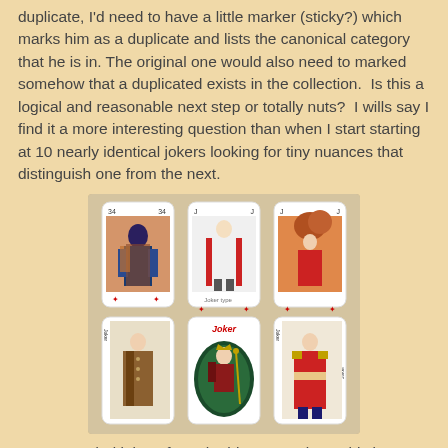duplicate, I'd need to have a little marker (sticky?) which marks him as a duplicate and lists the canonical category that he is in. The original one would also need to marked somehow that a duplicated exists in the collection.  Is this a logical and reasonable next step or totally nuts?  I wills say I find it a more interesting question than when I start starting at 10 nearly identical jokers looking for tiny nuances that distinguish one from the next.
[Figure (photo): Six playing card jokers arranged in a 2x3 grid on a light background. Top row: a colorfully dressed figure in ethnic clothing, a figure in a red cape with white outfit, and a figure in red outfit with trees in background. Bottom row: a figure in brown coat, a joker card with a crowned figure holding a scepter in an oval frame, and a figure in red military-style uniform.]
More sworded jokers from the history section.  This is driving me crazy!!!  I might need to rethink my categories!